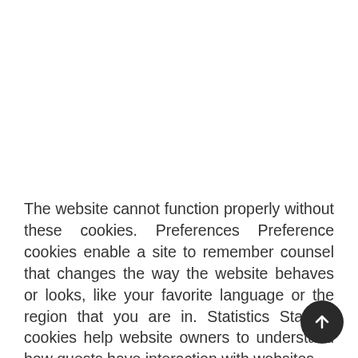The website cannot function properly without these cookies. Preferences Preference cookies enable a site to remember counsel that changes the way the website behaves or looks, like your favorite language or the region that you are in. Statistics Statistic cookies help website owners to understand how guests have interaction with websites